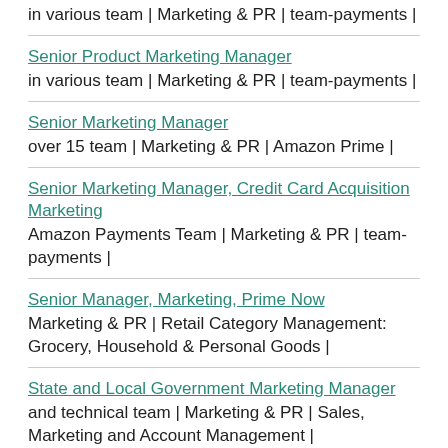in various team | Marketing & PR | team-payments |
Senior Product Marketing Manager
in various team | Marketing & PR | team-payments |
Senior Marketing Manager
over 15 team | Marketing & PR | Amazon Prime |
Senior Marketing Manager, Credit Card Acquisition Marketing
Amazon Payments Team | Marketing & PR | team-payments |
Senior Manager, Marketing, Prime Now
Marketing & PR | Retail Category Management: Grocery, Household & Personal Goods |
State and Local Government Marketing Manager
and technical team | Marketing & PR | Sales, Marketing and Account Management |